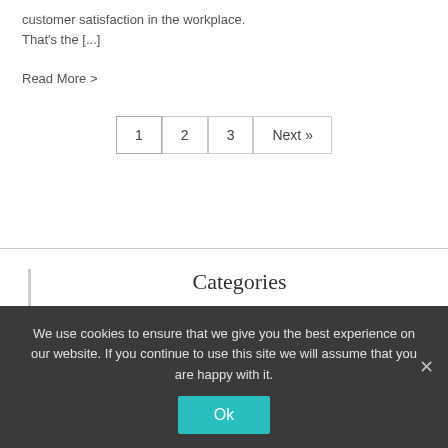customer satisfaction in the workplace. That's the [...]
Read More >
1 | 2 | 3 | Next »
Categories
[Figure (other): Hamburger menu icon with three horizontal bars]
We use cookies to ensure that we give you the best experience on our website. If you continue to use this site we will assume that you are happy with it.
Ok